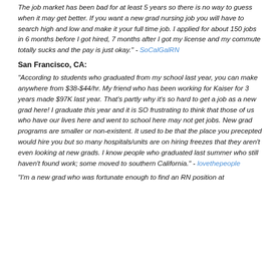The job market has been bad for at least 5 years so there is no way to guess when it may get better. If you want a new grad nursing job you will have to search high and low and make it your full time job. I applied for about 150 jobs in 6 months before I got hired, 7 months after I got my license and my commute totally sucks and the pay is just okay." - SoCalGalRN
San Francisco, CA:
“According to students who graduated from my school last year, you can make anywhere from $38-$44/hr. My friend who has been working for Kaiser for 3 years made $97K last year. That’s partly why it’s so hard to get a job as a new grad here! I graduate this year and it is SO frustrating to think that those of us who have our lives here and went to school here may not get jobs. New grad programs are smaller or non-existent. It used to be that the place you precepted would hire you but so many hospitals/units are on hiring freezes that they aren’t even looking at new grads. I know people who graduated last summer who still haven’t found work; some moved to southern California." - lovethepeople
“I’m a new grad who was fortunate enough to find an RN position at